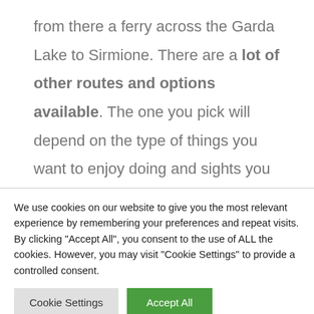from there a ferry across the Garda Lake to Sirmione. There are a lot of other routes and options available. The one you pick will depend on the type of things you want to enjoy doing and sights you maybe want to see. You should spend some time planning
We use cookies on our website to give you the most relevant experience by remembering your preferences and repeat visits. By clicking "Accept All", you consent to the use of ALL the cookies. However, you may visit "Cookie Settings" to provide a controlled consent.